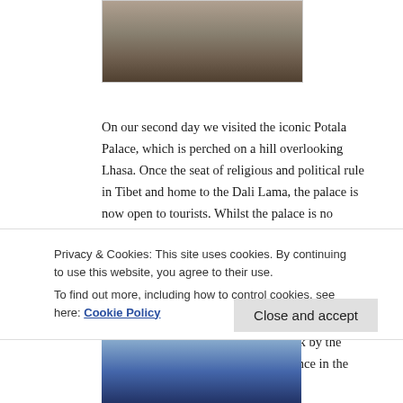[Figure (photo): Bottom of a person's clothing/shoes on a stone floor, cropped photo at top of page]
On our second day we visited the iconic Potala Palace, which is perched on a hill overlooking Lhasa. Once the seat of religious and political rule in Tibet and home to the Dali Lama, the palace is now open to tourists. Whilst the palace is no longer a working building, it still houses the ornate assembly halls, private living quarters and the decorative tombs of the past Dali Lamas. In the afternoon we headed to the Sera Monastery where we watched monks engaging in their daily debate. Whilst in Tibet, we were struck by the strong Chinese police and army presence in the cities, as well as the constant police
Privacy & Cookies: This site uses cookies. By continuing to use this website, you agree to their use.
To find out more, including how to control cookies, see here: Cookie Policy
[Figure (photo): Partial view of a building, likely Tibetan architecture, at the bottom of the page]